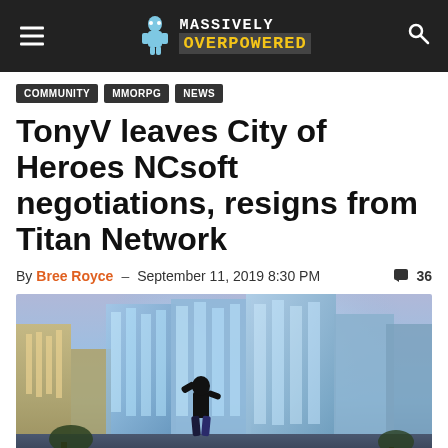Massively Overpowered
COMMUNITY
MMORPG
NEWS
TonyV leaves City of Heroes NCsoft negotiations, resigns from Titan Network
By Bree Royce – September 11, 2019 8:30 PM  💬 36
[Figure (photo): Screenshot from City of Heroes video game showing a silhouetted superhero character standing in a futuristic city at night with tall glowing blue-lit skyscrapers in the background]